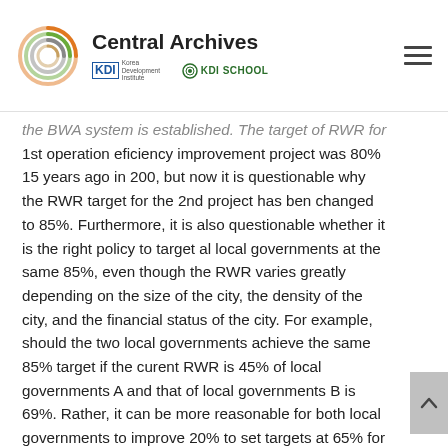Central Archives — KDI / KDI SCHOOL
the BWA system is established. The target of RWR for 1st operation eficiency improvement project was 80% 15 years ago in 200, but now it is questionable why the RWR target for the 2nd project has ben changed to 85%. Furthermore, it is also questionable whether it is the right policy to target al local governments at the same 85%, even though the RWR varies greatly depending on the size of the city, the density of the city, and the financial status of the city. For example, should the two local governments achieve the same 85% target if the curent RWR is 45% of local governments A and that of local governments B is 69%. Rather, it can be more reasonable for both local governments to improve 20% to set targets at 65% for